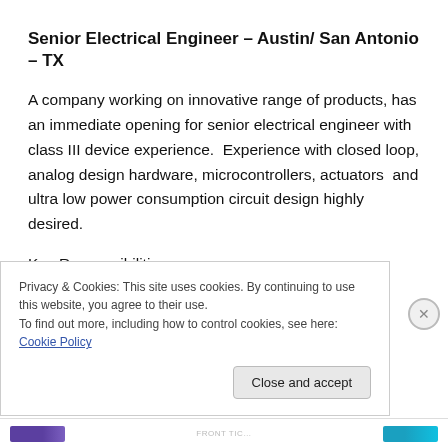Senior Electrical Engineer – Austin/ San Antonio – TX
A company working on innovative range of products, has an immediate opening for senior electrical engineer with class III device experience.  Experience with closed loop, analog design hardware, microcontrollers, actuators  and ultra low power consumption circuit design highly desired.
Key Responsibilities
* Lead Electrical Engineering, primarily for long-term
Privacy & Cookies: This site uses cookies. By continuing to use this website, you agree to their use.
To find out more, including how to control cookies, see here: Cookie Policy
Close and accept